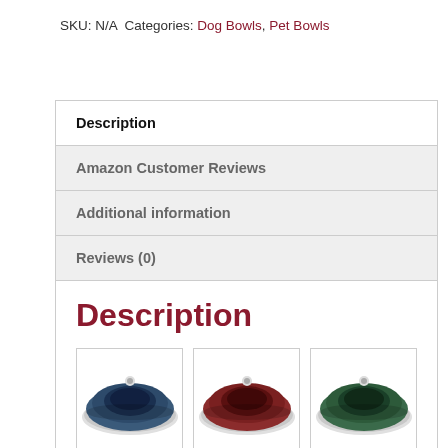SKU: N/A  Categories: Dog Bowls, Pet Bowls
Description
Amazon Customer Reviews
Additional information
Reviews (0)
Description
[Figure (photo): Three ceramic dog bowls in blue, red/brown, and green colors]
[Figure (photo): Partial view of additional dog bowls row]